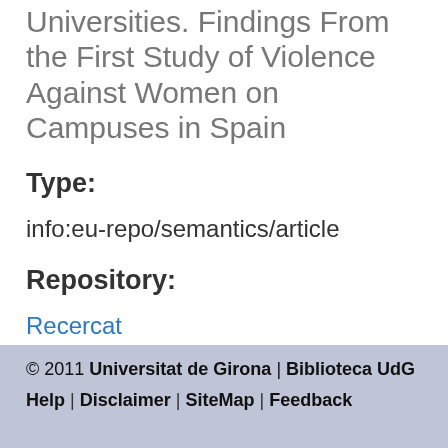Universities. Findings From the First Study of Violence Against Women on Campuses in Spain
Type:
info:eu-repo/semantics/article
Repository:
Recercat
© 2011 Universitat de Girona | Biblioteca UdG  Help |  Disclaimer |  SiteMap |  Feedback